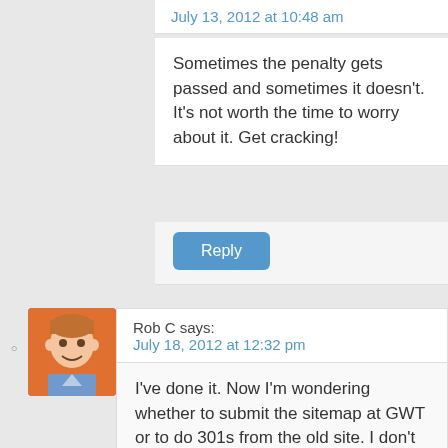July 13, 2012 at 10:48 am
Sometimes the penalty gets passed and sometimes it doesn't. It's not worth the time to worry about it. Get cracking!
Reply
Rob C says:
July 18, 2012 at 12:32 pm
I've done it. Now I'm wondering whether to submit the sitemap at GWT or to do 301s from the old site. I don't suppose anyone's got any experience with moving a Penguin-affected site?